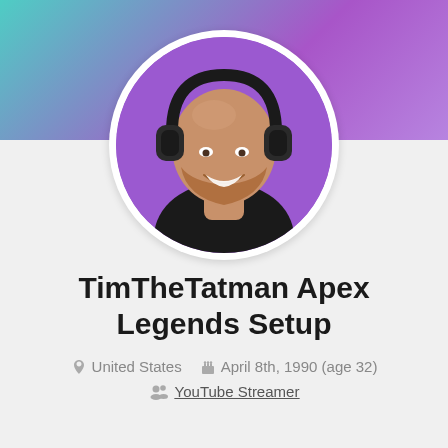[Figure (photo): Profile photo of TimTheTatman wearing headphones, with purple background, shown in a circular crop with white border]
TimTheTatman Apex Legends Setup
United States   April 8th, 1990 (age 32)
YouTube Streamer